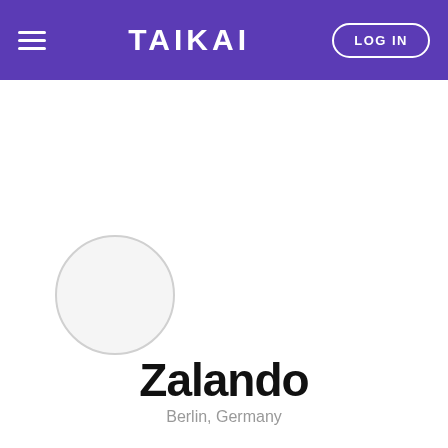TAIKAI — LOG IN
[Figure (illustration): Circular avatar/profile placeholder in light gray]
Zalando
Berlin, Germany